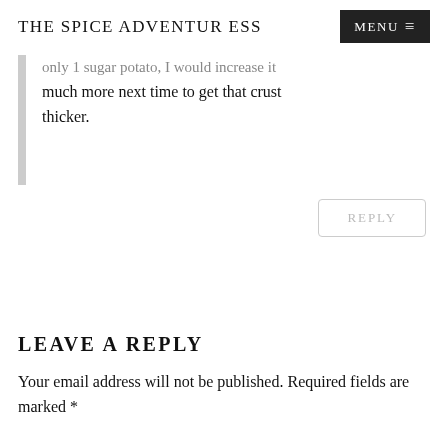THE SPICE ADVENTURESS  MENU
only 1 sugar potato, I would increase it much more next time to get that crust thicker.
REPLY
LEAVE A REPLY
Your email address will not be published. Required fields are marked *